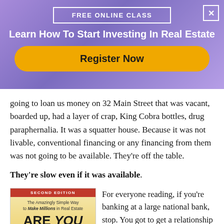[Figure (infographic): Purple gradient banner ad for free online class about real estate investing, with a yellow 'Register Now' button and a close (X) button in the top right corner.]
going to loan us money on 32 Main Street that was vacant, boarded up, had a layer of crap, King Cobra bottles, drug paraphernalia. It was a squatter house. Because it was not livable, conventional financing or any financing from them was not going to be available. They're off the table.
They're slow even if it was available.
[Figure (photo): Book cover for 'Are You Dumb Enough to Be Rich?' Second Edition – The Amazingly Simple Way to Make Millions in Real Estate]
For everyone reading, if you're banking at a large national bank, stop. You got to get a relationship banker. You got to go to a local, regional community